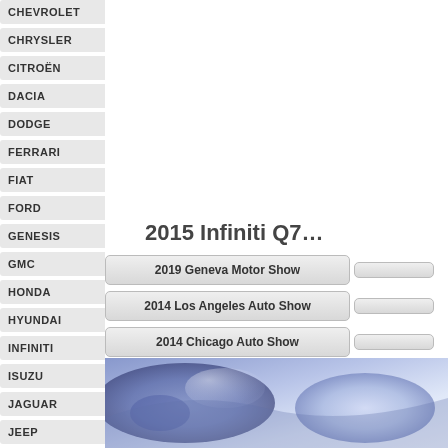CHEVROLET
CHRYSLER
CITROËN
DACIA
DODGE
FERRARI
FIAT
FORD
GENESIS
GMC
HONDA
HYUNDAI
INFINITI
ISUZU
JAGUAR
JEEP
2015 Infiniti Q7…
2019 Geneva Motor Show
2014 Los Angeles Auto Show
2014 Chicago Auto Show
2013 Frankfurt Motor Show
[Figure (photo): Partial view of a car, likely the 2015 Infiniti Q7, showing a close-up of a chrome/metallic detail with blue/purple lighting]